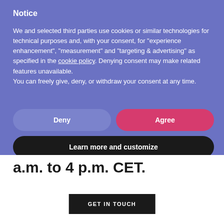Notice
We and selected third parties use cookies or similar technologies for technical purposes and, with your consent, for “experience enhancement”, “measurement” and “targeting & advertising” as specified in the cookie policy. Denying consent may make related features unavailable.
You can freely give, deny, or withdraw your consent at any time.
Deny
Agree
Learn more and customize
a.m. to 4 p.m. CET.
GET IN TOUCH